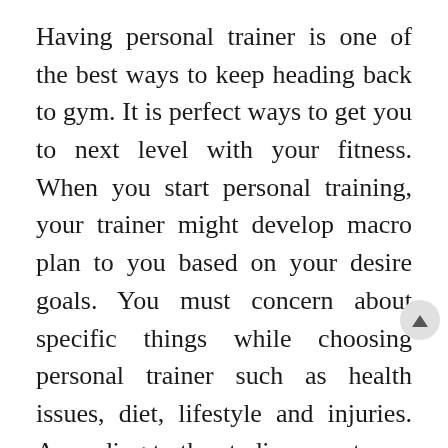Having personal trainer is one of the best ways to keep heading back to gym. It is perfect ways to get you to next level with your fitness. When you start personal training, your trainer might develop macro plan to you based on your desire goals. You must concern about specific things while choosing personal trainer such as health issues, diet, lifestyle and injuries. According to the studies reports say that personal trainers are experts in the motivation. In case you are recovering from the injury then working with the trainer might make huge difference how to recover. You are advisable to choose reliable and licensed personal trainer to get top quality of service. Suppose you are decided to take on the major event like triathlon or marathon then you must choose reliable and finest personal trainer